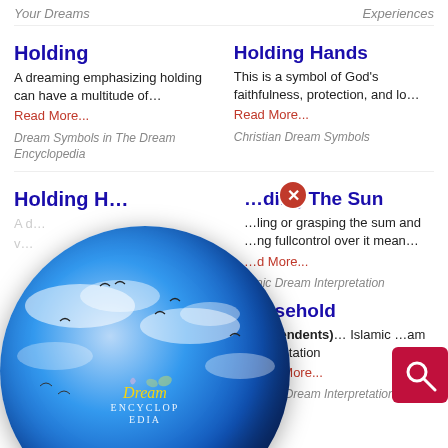Your Dreams
Experiences
Holding
A dreaming emphasizing holding can have a multitude of…
Read More...
Dream Symbols in The Dream Encyclopedia
Holding Hands
This is a symbol of God's faithfulness, protection, and lo…
Read More...
Christian Dream Symbols
Holding H…
Holding The Sun
…ling or grasping the sum and …ng fullcontrol over it mean…
…d More...
…nic Dream Interpretation
…usehold
e Dependents)… Islamic …am Interpretation
…ead More...
Islamic Dream Interpretation
Household Items
[Figure (photo): Dream Encyclopedia logo globe with sky and clouds background, circular globe with 'Dream Encyclopedia' text overlay]